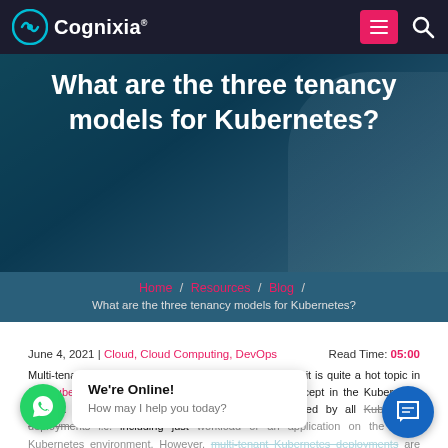[Figure (screenshot): Cognixia website navigation bar with logo, hamburger menu button (pink), and search icon on dark background.]
What are the three tenancy models for Kubernetes?
Home / Resources / Blog / What are the three tenancy models for Kubernetes?
June 4, 2021 | Cloud, Cloud Computing, DevOps    Read Time: 05:00
Multi-tenancy is frequently in the headlines these days, it is quite a hot topic in the Kubernetes world. Multi-tenancy is a complex concept in the Kubernetes context. In a simpler world, a single-tenant is hosted by all Kubernetes deployments i.e. including just workload or an application on the entire Kubernetes environment. However, multi-tenant Kubernetes deployments are very commonly used.
This blog will discuss the concept of Kubernetes multi-tenancy and